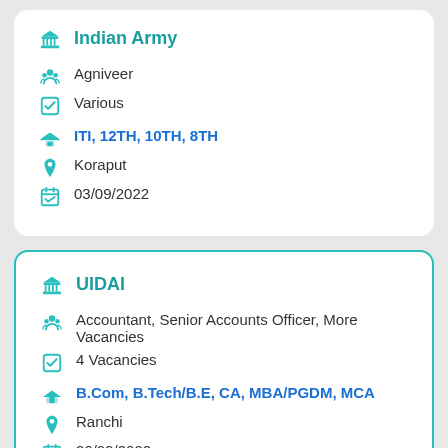Indian Army
Agniveer
Various
ITI, 12TH, 10TH, 8TH
Koraput
03/09/2022
UIDAI
Accountant, Senior Accounts Officer, More Vacancies
4 Vacancies
B.Com, B.Tech/B.E, CA, MBA/PGDM, MCA
Ranchi
26/09/2022